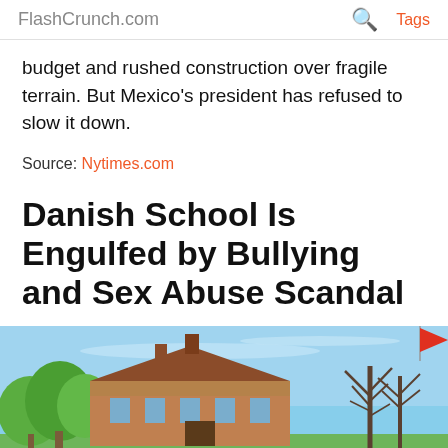FlashCrunch.com
budget and rushed construction over fragile terrain. But Mexico's president has refused to slow it down.
Source: Nytimes.com
Danish School Is Engulfed by Bullying and Sex Abuse Scandal
[Figure (photo): Exterior photo of a school building surrounded by trees under a blue sky]